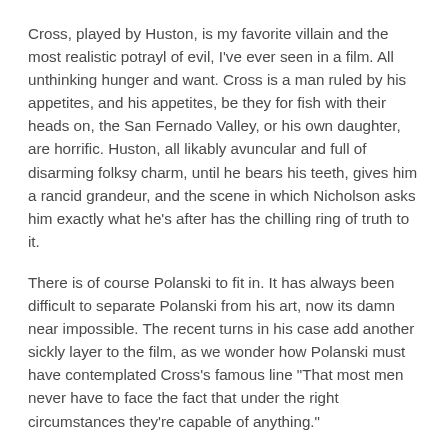Cross, played by Huston, is my favorite villain and the most realistic potrayl of evil, I've ever seen in a film. All unthinking hunger and want. Cross is a man ruled by his appetites, and his appetites, be they for fish with their heads on, the San Fernado Valley, or his own daughter, are horrific. Huston, all likably avuncular and full of disarming folksy charm, until he bears his teeth, gives him a rancid grandeur, and the scene in which Nicholson asks him exactly what he's after has the chilling ring of truth to it.
There is of course Polanski to fit in. It has always been difficult to separate Polanski from his art, now its damn near impossible. The recent turns in his case add another sickly layer to the film, as we wonder how Polanski must have contemplated Cross's famous line "That most men never have to face the fact that under the right circumstances they're capable of anything."
Its that darkest of truths that makes Chinatown what it is. That makes the "My Daughter my sister." Line carry all its horrific power after a trillion parodies. That makes those final